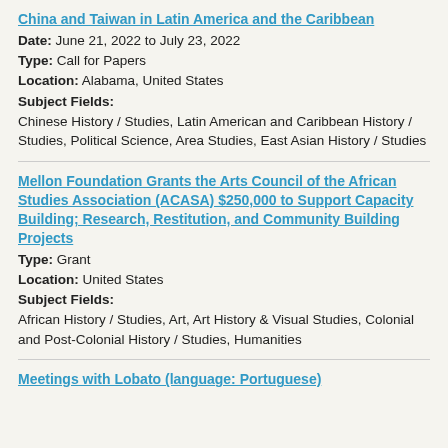China and Taiwan in Latin America and the Caribbean
Date: June 21, 2022 to July 23, 2022
Type: Call for Papers
Location: Alabama, United States
Subject Fields:
Chinese History / Studies, Latin American and Caribbean History / Studies, Political Science, Area Studies, East Asian History / Studies
Mellon Foundation Grants the Arts Council of the African Studies Association (ACASA) $250,000 to Support Capacity Building; Research, Restitution, and Community Building Projects
Type: Grant
Location: United States
Subject Fields:
African History / Studies, Art, Art History & Visual Studies, Colonial and Post-Colonial History / Studies, Humanities
Meetings with Lobato (language: Portuguese)